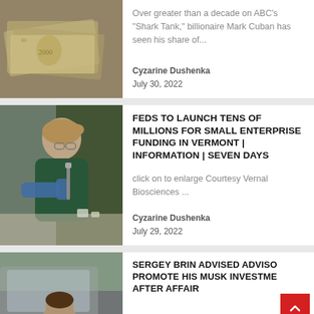[Figure (photo): Photo of bundled banknotes and currency scattered on a surface]
Over greater than a decade on ABC's "Shark Tank," billionaire Mark Cuban has seen his share of...
Cyzarine Dushenka
July 30, 2022
[Figure (photo): Photo of a woman in a green jacket and blue gloves working in a laboratory]
FEDS TO LAUNCH TENS OF MILLIONS FOR SMALL ENTERPRISE FUNDING IN VERMONT | INFORMATION | SEVEN DAYS
click on to enlarge Courtesy Vernal Biosciences ...
Cyzarine Dushenka
July 29, 2022
[Figure (photo): Photo of a man near a car, partially visible]
SERGEY BRIN ADVISED ADVISORS PROMOTE HIS MUSK INVESTMENTS AFTER AFFAIR